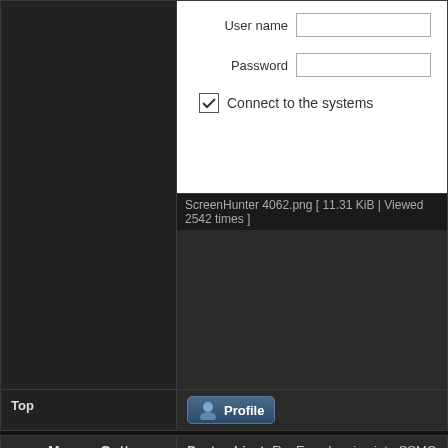[Figure (screenshot): Forum post screenshot showing a login form with User name field, Password field, and a checked checkbox labeled 'Connect to the systems']
ScreenHunter 4062.png [ 11.31 KiB | Viewed 2542 times ]
Top
Profile
MammaGutt
Post subject: Re: Error logging into SSMC 3.8.0 https:\xx.xx
Joined: Mon Sep 21, 2015 2:11 pm
Posts: 1399
Location: Europe
In that case I would redeploy to get a fresh sta appliances and never seen that issue.
The views and opinions expressed are my own and do not necessarily reflect those of my cur
Top
Profile
paoloc1
Post subject: Re: Error logging into SSMC 3.8.0 https:\xx.xx
Thankyou for the advice MammaGutt.